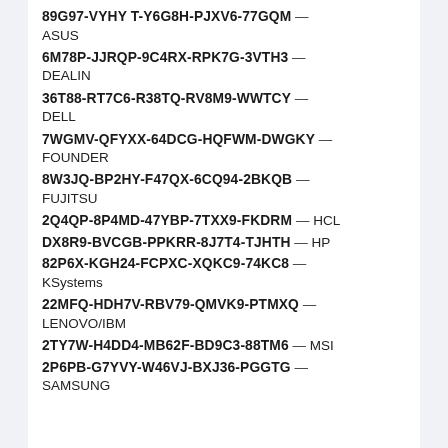89G97-VYHY T-Y6G8H-PJXV6-77GQM — ASUS
6M78P-JJRQP-9C4RX-RPK7G-3VTH3 — DEALIN
36T88-RT7C6-R38TQ-RV8M9-WWTCY — DELL
7WGMV-QFYXX-64DCG-HQFWM-DWGKY — FOUNDER
8W3JQ-BP2HY-F47QX-6CQ94-2BKQB — FUJITSU
2Q4QP-8P4MD-47YBP-7TXX9-FKDRM — HCL
DX8R9-BVCGB-PPKRR-8J7T4-TJHTH — HP
82P6X-KGH24-FCPXC-XQKC9-74KC8 — KSystems
22MFQ-HDH7V-RBV79-QMVK9-PTMXQ — LENOVO/IBM
2TY7W-H4DD4-MB62F-BD9C3-88TM6 — MSI
2P6PB-G7YVY-W46VJ-BXJ36-PGGTG — SAMSUNG